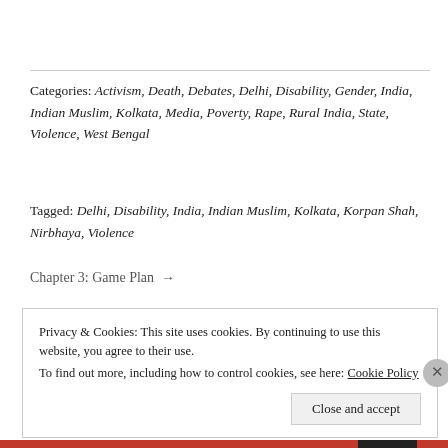Categories: Activism, Death, Debates, Delhi, Disability, Gender, India, Indian Muslim, Kolkata, Media, Poverty, Rape, Rural India, State, Violence, West Bengal
Tagged: Delhi, Disability, India, Indian Muslim, Kolkata, Korpan Shah, Nirbhaya, Violence
Chapter 3: Game Plan →
← Ending the Practice of 'Witch-Hunting' in Assam: An Interview with Archana Bhattacharjee about Birubala Rabha's Work
Privacy & Cookies: This site uses cookies. By continuing to use this website, you agree to their use. To find out more, including how to control cookies, see here: Cookie Policy